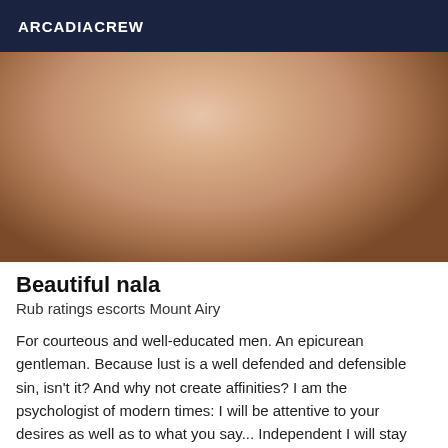ARCADIACREW
[Figure (photo): Close-up photo of a person's body, skin tones ranging from light to darker tones, cropped tightly.]
Beautiful nala
Rub ratings escorts Mount Airy
For courteous and well-educated men. An epicurean gentleman. Because lust is a well defended and defensible sin, isn't it? And why not create affinities? I am the psychologist of modern times: I will be attentive to your desires as well as to what you say... Independent I will stay Enjoyment as a key word... Conviviality for